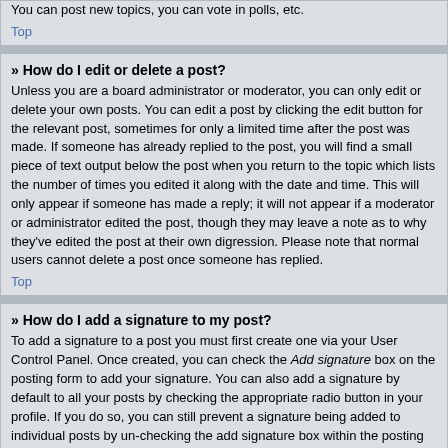You can post new topics, you can vote in polls, etc.
Top
» How do I edit or delete a post?
Unless you are a board administrator or moderator, you can only edit or delete your own posts. You can edit a post by clicking the edit button for the relevant post, sometimes for only a limited time after the post was made. If someone has already replied to the post, you will find a small piece of text output below the post when you return to the topic which lists the number of times you edited it along with the date and time. This will only appear if someone has made a reply; it will not appear if a moderator or administrator edited the post, though they may leave a note as to why they've edited the post at their own digression. Please note that normal users cannot delete a post once someone has replied.
Top
» How do I add a signature to my post?
To add a signature to a post you must first create one via your User Control Panel. Once created, you can check the Add signature box on the posting form to add your signature. You can also add a signature by default to all your posts by checking the appropriate radio button in your profile. If you do so, you can still prevent a signature being added to individual posts by un-checking the add signature box within the posting form.
Top